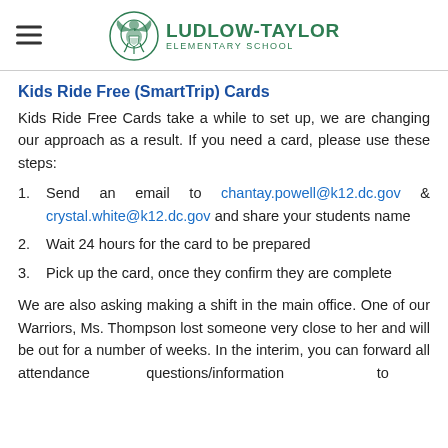LUDLOW-TAYLOR ELEMENTARY SCHOOL
Kids Ride Free (SmartTrip) Cards
Kids Ride Free Cards take a while to set up, we are changing our approach as a result. If you need a card, please use these steps:
Send an email to chantay.powell@k12.dc.gov & crystal.white@k12.dc.gov and share your students name
Wait 24 hours for the card to be prepared
Pick up the card, once they confirm they are complete
We are also asking making a shift in the main office. One of our Warriors, Ms. Thompson lost someone very close to her and will be out for a number of weeks. In the interim, you can forward all attendance questions/information to